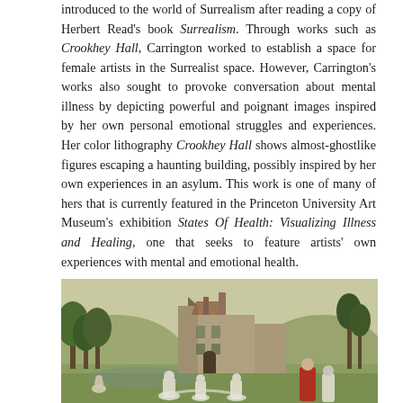introduced to the world of Surrealism after reading a copy of Herbert Read's book Surrealism. Through works such as Crookhey Hall, Carrington worked to establish a space for female artists in the Surrealist space. However, Carrington's works also sought to provoke conversation about mental illness by depicting powerful and poignant images inspired by her own personal emotional struggles and experiences. Her color lithography Crookhey Hall shows almost-ghostlike figures escaping a haunting building, possibly inspired by her own experiences in an asylum. This work is one of many of hers that is currently featured in the Princeton University Art Museum's exhibition States Of Health: Visualizing Illness and Healing, one that seeks to feature artists' own experiences with mental and emotional health.
[Figure (illustration): A color lithograph artwork, Crookhey Hall by Leonora Carrington, showing a wide landscape with a large haunting Gothic-style building in the center background, surrounded by trees and hills in muted olive-green and brown tones. In the foreground, several ghostlike pale figures move across a grassy area, with one figure in a red robe on the right side.]